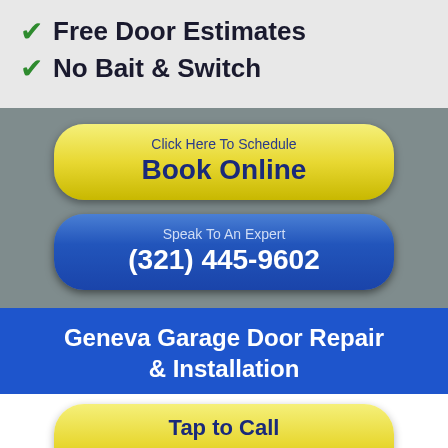✓ Free Door Estimates
✓ No Bait & Switch
[Figure (infographic): Yellow rounded button with 'Click Here To Schedule' and 'Book Online']
[Figure (infographic): Blue rounded button with 'Speak To An Expert' and '(321) 445-9602']
Geneva Garage Door Repair & Installation
[Figure (infographic): Yellow rounded button with 'Tap to Call' and '(321) 445-9602']